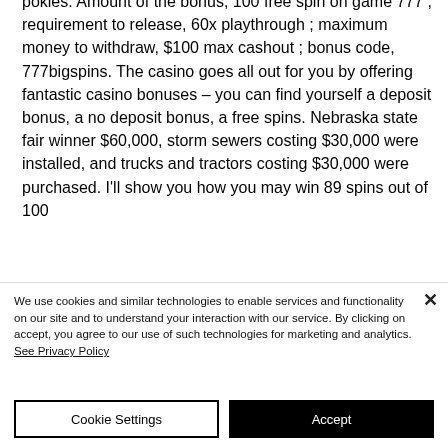pokies. Amount of the bonus, 100 free spin on game 777 ; requirement to release, 60x playthrough ; maximum money to withdraw, $100 max cashout ; bonus code, 777bigspins. The casino goes all out for you by offering fantastic casino bonuses – you can find yourself a deposit bonus, a no deposit bonus, a free spins. Nebraska state fair winner $60,000, storm sewers costing $30,000 were installed, and trucks and tractors costing $30,000 were purchased. I'll show you how you may win 89 spins out of 100
We use cookies and similar technologies to enable services and functionality on our site and to understand your interaction with our service. By clicking on accept, you agree to our use of such technologies for marketing and analytics. See Privacy Policy